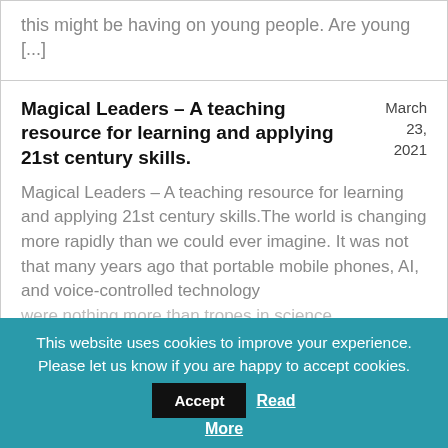this might be having on young people. Are young [...]
Magical Leaders – A teaching resource for learning and applying 21st century skills.
March 23, 2021
Magical Leaders – A teaching resource for learning and applying 21st century skills.The world is changing more rapidly than we could ever imagine. It was not that many years ago that portable mobile phones, AI, and voice-controlled technology were nothing more than tropes in science…
This website uses cookies to improve your experience. Please let us know if you are happy to accept cookies. Accept Read More